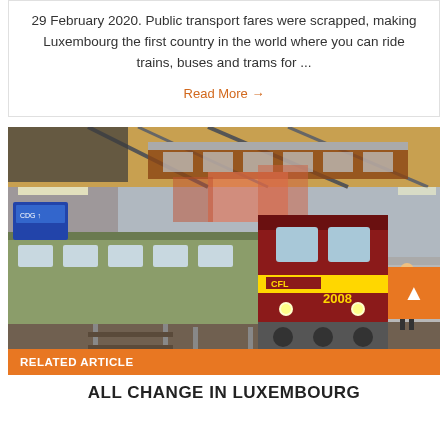29 February 2020. Public transport fares were scrapped, making Luxembourg the first country in the world where you can ride trains, buses and trams for ...
Read More →
[Figure (photo): A CFL (Chemins de Fer Luxembourgeois) train number 2008 at a station platform. The train is green and red/maroon colored. A worker in an orange vest stands on the right platform. The station has a modern glass and steel overhead bridge structure.]
RELATED ARTICLE
ALL CHANGE IN LUXEMBOURG